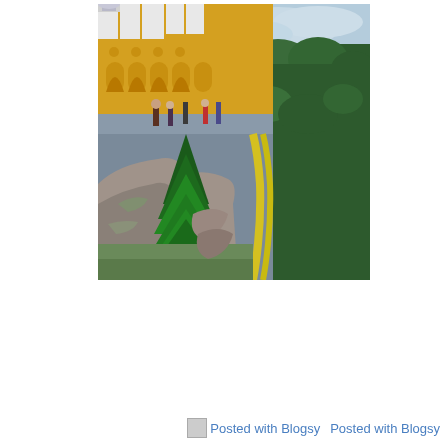[Figure (photo): Aerial/elevated view of Pena Palace in Sintra, Portugal. The palace shows its characteristic yellow and blue/grey walls with white arched colonnades and turrets. Tourists can be seen on a terrace. In the foreground are large rocky outcroppings and a large green conifer tree. A yellow railing/wall follows a path down into a dense green forest valley below. The sky is partly cloudy.]
Posted with Blogsy   Posted with Blogsy